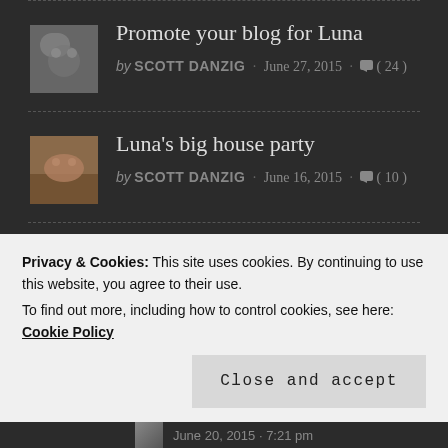[Figure (photo): Small thumbnail image of a cat, grayscale tones]
Promote your blog for Luna
by SCOTT DANZIG · JUNE 27, 2015 · ( 24 )
[Figure (photo): Small thumbnail image of a cat on a wooden floor]
Luna's big house party
by SCOTT DANZIG · JUNE 16, 2015 · ( 10 )
Privacy & Cookies: This site uses cookies. By continuing to use this website, you agree to their use.
To find out more, including how to control cookies, see here: Cookie Policy
Close and accept
June 20, 2015 · 7:21 pm